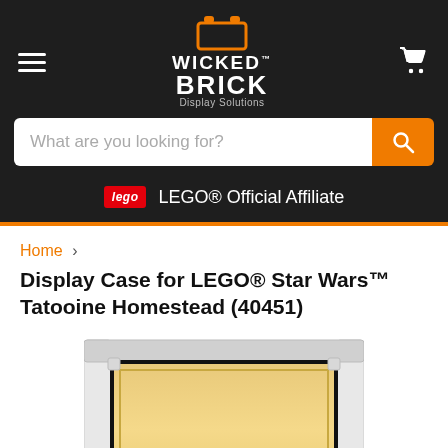[Figure (logo): Wicked Brick Display Solutions logo — brick/lego icon in orange above white bold text WICKED BRICK with Display Solutions subtitle]
What are you looking for?
LEGO® Official Affiliate
Home > Display Case for LEGO® Star Wars™ Tatooine Homestead (40451)
Display Case for LEGO® Star Wars™ Tatooine Homestead (40451)
[Figure (photo): Partial view of a clear display case with white frame and a golden/sandy-colored LEGO set interior visible, with a circular white dot at the bottom center]